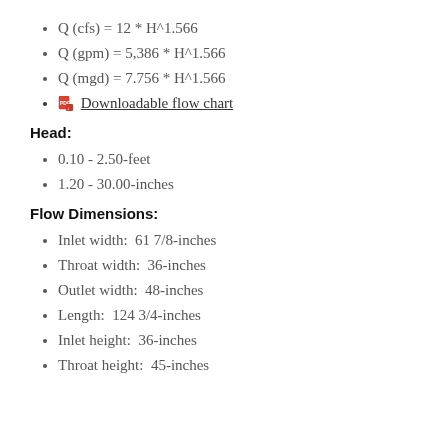Q (cfs) = 12 * H^1.566
Q (gpm) = 5,386 * H^1.566
Q (mgd) = 7.756 * H^1.566
Downloadable flow chart
Head:
0.10 - 2.50-feet
1.20 - 30.00-inches
Flow Dimensions:
Inlet width:  61 7/8-inches
Throat width:  36-inches
Outlet width:  48-inches
Length:  124 3/4-inches
Inlet height:  36-inches
Throat height:  45-inches